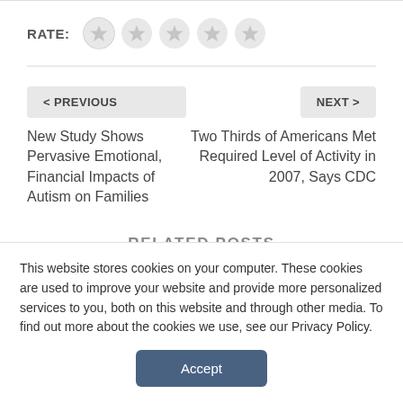[Figure (other): Rate stars: RATE: label followed by five empty gray star circles]
< PREVIOUS
New Study Shows Pervasive Emotional, Financial Impacts of Autism on Families
NEXT >
Two Thirds of Americans Met Required Level of Activity in 2007, Says CDC
RELATED POSTS
This website stores cookies on your computer. These cookies are used to improve your website and provide more personalized services to you, both on this website and through other media. To find out more about the cookies we use, see our Privacy Policy.
Accept